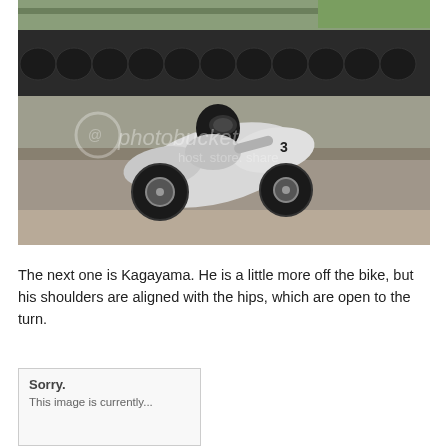[Figure (photo): A motorcycle racer wearing a black helmet and white racing suit with number 3, leaning into a turn on a race track. The background shows a wall of stacked tires and track barriers. Photobucket watermark is visible on the image.]
The next one is Kagayama. He is a little more off the bike, but his shoulders are aligned with the hips, which are open to the turn.
[Figure (photo): Broken image placeholder showing 'Sorry. This image is currently...' text with a light gray border box, indicating a missing Photobucket-hosted image.]